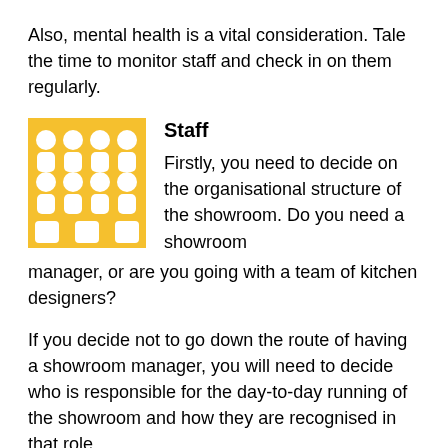Also, mental health is a vital consideration. Tale the time to monitor staff and check in on them regularly.
[Figure (illustration): Yellow/gold square icon showing a group of people silhouettes arranged in rows, representing staff members.]
Staff
Firstly, you need to decide on the organisational structure of the showroom. Do you need a showroom manager, or are you going with a team of kitchen designers?
If you decide not to go down the route of having a showroom manager, you will need to decide who is responsible for the day-to-day running of the showroom and how they are recognised in that role.
You also have to think carefully about how you plan to recruit staff, and from where? Do you choose an